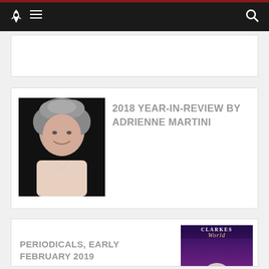Navigation bar with rocket logo, hamburger menu, and search icon
[Figure (photo): Empty white card section at top]
[Figure (photo): Portrait photo of Adrienne Martini, a woman with gray curly hair, smiling, wearing a light pink top against a dark background]
2018 YEAR-IN-REVIEW BY ADRIENNE MARTINI
PERIODICALS, EARLY FEBRUARY 2019
[Figure (photo): Clarkesworld magazine cover with purple and red alien mushroom cloud artwork]